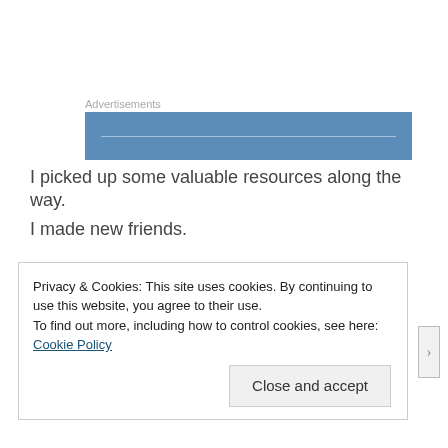[Figure (other): Advertisements banner — blue rectangle with a light horizontal line]
I picked up some valuable resources along the way.
I made new friends.
I reconnected with old friends.
Privacy & Cookies: This site uses cookies. By continuing to use this website, you agree to their use.
To find out more, including how to control cookies, see here: Cookie Policy